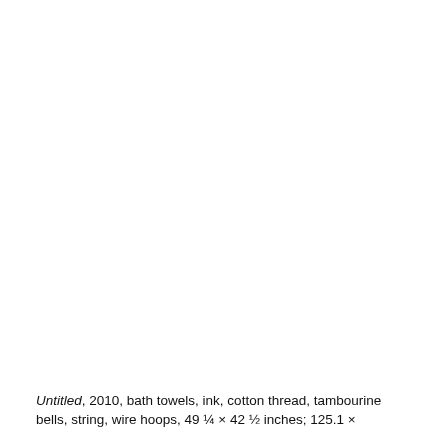Untitled, 2010, bath towels, ink, cotton thread, tambourine bells, string, wire hoops, 49 ¼ × 42 ½ inches; 125.1 ×